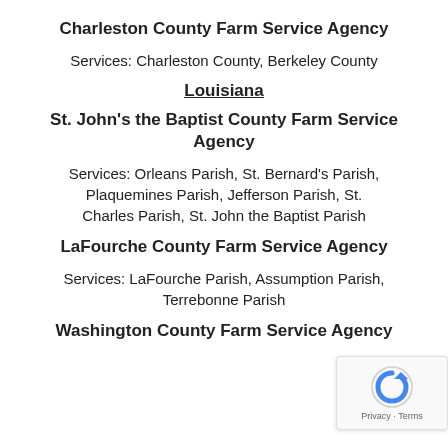Charleston County Farm Service Agency
Services: Charleston County, Berkeley County
Louisiana
St. John's the Baptist County Farm Service Agency
Services: Orleans Parish, St. Bernard's Parish, Plaquemines Parish, Jefferson Parish, St. Charles Parish, St. John the Baptist Parish
LaFourche County Farm Service Agency
Services: LaFourche Parish, Assumption Parish, Terrebonne Parish
Washington County Farm Service Agency